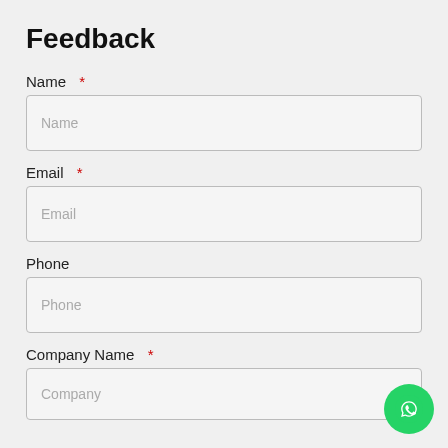Feedback
Name *
Name
Email *
Email
Phone
Phone
Company Name *
Company